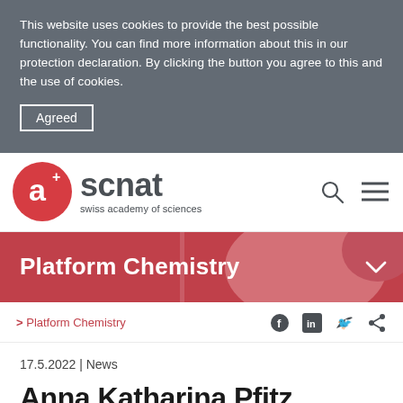This website uses cookies to provide the best possible functionality. You can find more information about this in our protection declaration. By clicking the button you agree to this and the use of cookies.
Agreed
[Figure (logo): SCNAT Swiss Academy of Sciences logo with red circle containing stylized 'a+' mark and search/menu icons]
Platform Chemistry
> Platform Chemistry
17.5.2022 | News
Anna Katharina Pfitz...